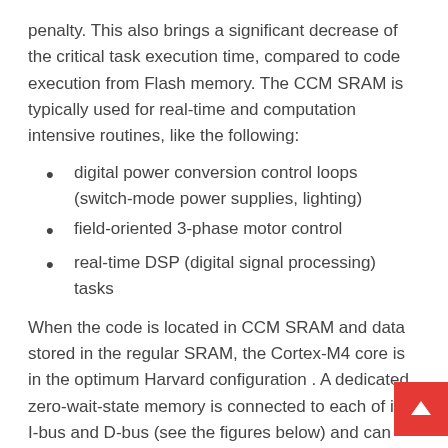penalty. This also brings a significant decrease of the critical task execution time, compared to code execution from Flash memory. The CCM SRAM is typically used for real-time and computation intensive routines, like the following:
digital power conversion control loops (switch-mode power supplies, lighting)
field-oriented 3-phase motor control
real-time DSP (digital signal processing) tasks
When the code is located in CCM SRAM and data stored in the regular SRAM, the Cortex-M4 core is in the optimum Harvard configuration . A dedicated zero-wait-state memory is connected to each of its I-bus and D-bus (see the figures below) and can thus perfo at 1.25 DMIPS/MHz, with a deterministic performance of 90 DMIPS in STM32F3 and 213 DMIPS in